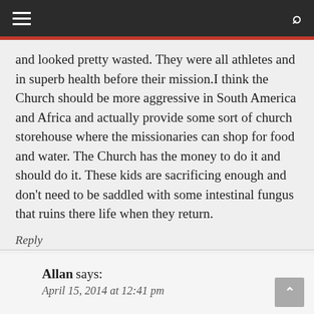navigation bar with hamburger menu and search icon
and looked pretty wasted. They were all athletes and in superb health before their mission.I think the Church should be more aggressive in South America and Africa and actually provide some sort of church storehouse where the missionaries can shop for food and water. The Church has the money to do it and should do it. These kids are sacrificing enough and don't need to be saddled with some intestinal fungus that ruins there life when they return.
Reply
Allan says:
April 15, 2014 at 12:41 pm